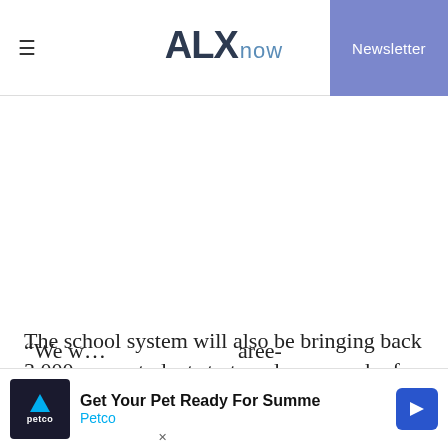ALXnow | Newsletter
The school system will also be bringing back 3,000 more students to two days a week of hybrid instruction over the next couple of weeks. That will make about 8,000 students back in school out of the 16,000 student population.
“We w... aree-
[Figure (other): Petco advertisement banner: Get Your Pet Ready For Summe - Petco]